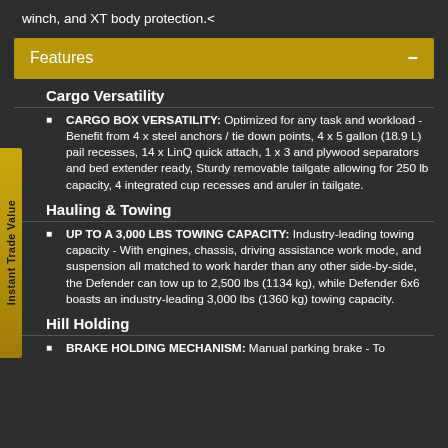winch, and XT body protection.<
Features
Cargo Versatility
CARGO BOX VERSATILITY: Optimized for any task and workload - Benefit from 4 x steel anchors / tie down points, 4 x 5 gallon (18.9 L) pail recesses, 14 x LinQ quick attach, 1 x 3 and plywood separators and bed extender ready, Sturdy removable tailgate allowing for 250 lb capacity, 4 integrated cup recesses and aruler in tailgate.
Hauling & Towing
UP TO A 3,000 LBS TOWING CAPACITY: Industry-leading towing capacity - With engines, chassis, driving assistance work mode, and suspension all matched to work harder than any other side-by-side, the Defender can tow up to 2,500 lbs (1134 kg), while Defender 6x6 boasts an industry-leading 3,000 lbs (1360 kg) towing capacity.
Hill Holding
BRAKE HOLDING MECHANISM: Manual parking brake - To